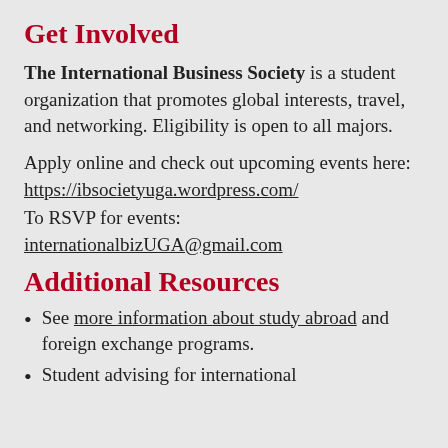Get Involved
The International Business Society is a student organization that promotes global interests, travel, and networking. Eligibility is open to all majors.
Apply online and check out upcoming events here:
https://ibsocietyuga.wordpress.com/
To RSVP for events:
internationalbizUGA@gmail.com
Additional Resources
See more information about study abroad and foreign exchange programs.
Student advising for international...